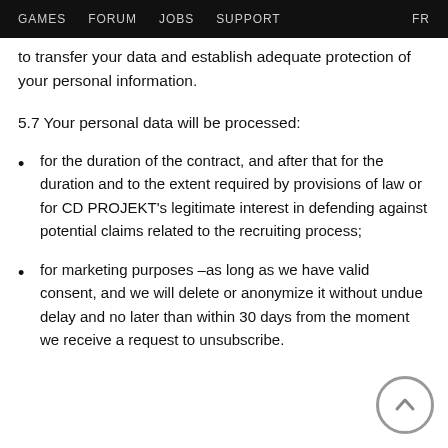GAMES   FORUM   JOBS   SUPPORT   FR
to transfer your data and establish adequate protection of your personal information.
5.7 Your personal data will be processed:
for the duration of the contract, and after that for the duration and to the extent required by provisions of law or for CD PROJEKT's legitimate interest in defending against potential claims related to the recruiting process;
for marketing purposes –as long as we have valid consent, and we will delete or anonymize it without undue delay and no later than within 30 days from the moment we receive a request to unsubscribe.